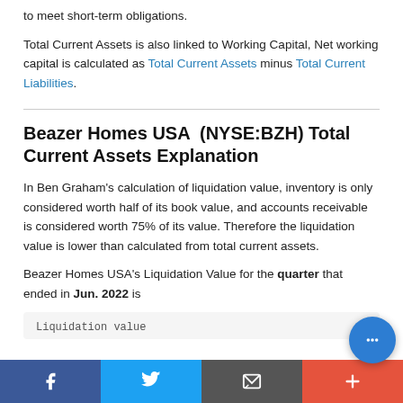to meet short-term obligations.
Total Current Assets is also linked to Working Capital, Net working capital is calculated as Total Current Assets minus Total Current Liabilities.
Beazer Homes USA  (NYSE:BZH) Total Current Assets Explanation
In Ben Graham's calculation of liquidation value, inventory is only considered worth half of its book value, and accounts receivable is considered worth 75% of its value. Therefore the liquidation value is lower than calculated from total current assets.
Beazer Homes USA's Liquidation Value for the quarter that ended in Jun. 2022 is